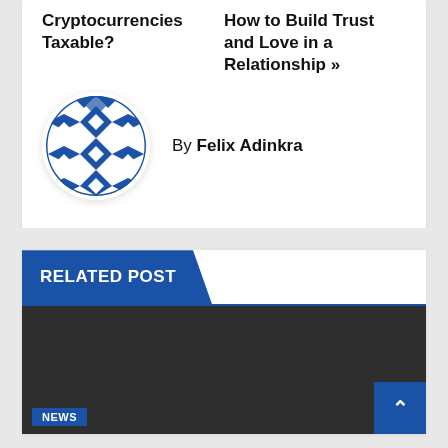CryptocurrenciesHow to Build Trust and Love in a Relationship »
[Figure (illustration): Circular avatar with blue and white geometric Adinkra pattern]
By Felix Adinkra
RELATED POST
[Figure (photo): Dark background image with NEWS badge and scroll-to-top button]